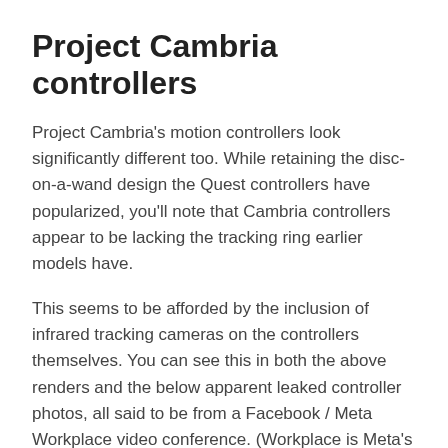Project Cambria controllers
Project Cambria's motion controllers look significantly different too. While retaining the disc-on-a-wand design the Quest controllers have popularized, you'll note that Cambria controllers appear to be lacking the tracking ring earlier models have.
This seems to be afforded by the inclusion of infrared tracking cameras on the controllers themselves. You can see this in both the above renders and the below apparent leaked controller photos, all said to be from a Facebook / Meta Workplace video conference. (Workplace is Meta's internal Slack / Teams solution).